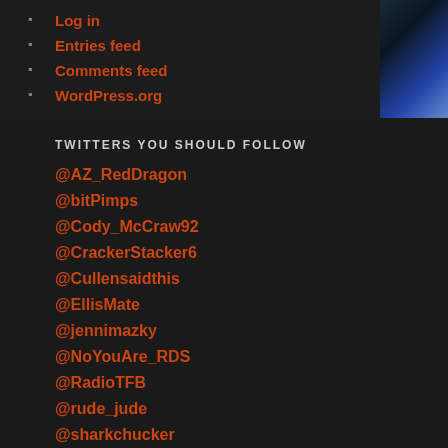Log in
Entries feed
Comments feed
WordPress.org
TWITTERS YOU SHOULD FOLLOW
@AZ_RedDragon
@bitPimps
@Cody_McCraw92
@CrackerStacker6
@Cullensaidthis
@EllisMate
@jennimazky
@NoYouAre_RDS
@RadioTFB
@rude_jude
@sharkchucker
@shit_toboggan
@tank_yanker
@Tully